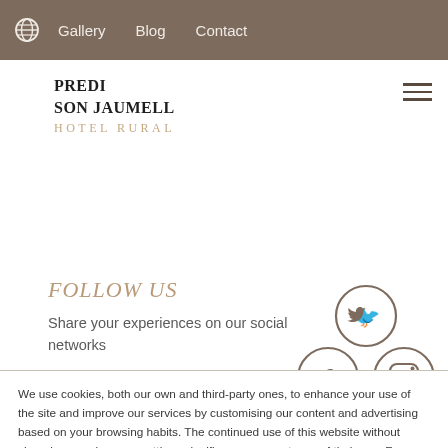Gallery  Blog  Contact
PREDI SON JAUMELL HOTEL RURAL
FOLLOW US
Share your experiences on our social networks
[Figure (infographic): Social media icons arranged in a cluster: Twitter (top center), Facebook (middle left), Instagram (middle right), YouTube (bottom center). Each icon is inside a circular outline with brown/taupe coloring.]
We use cookies, both our own and third-party ones, to enhance your use of the site and improve our services by customising our content and advertising based on your browsing habits. The continued use of this website without changing your browser settings signifies your acceptance of their use. For more information see our Privacy & Cookies Policy.